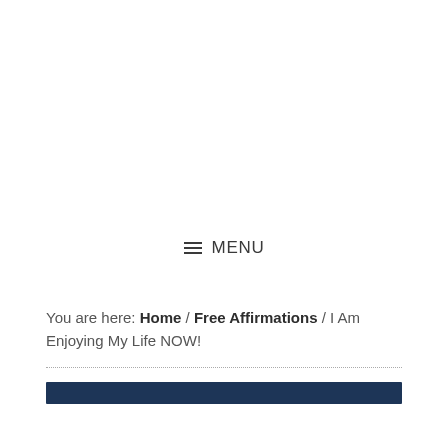≡ MENU
You are here: Home / Free Affirmations / I Am Enjoying My Life NOW!